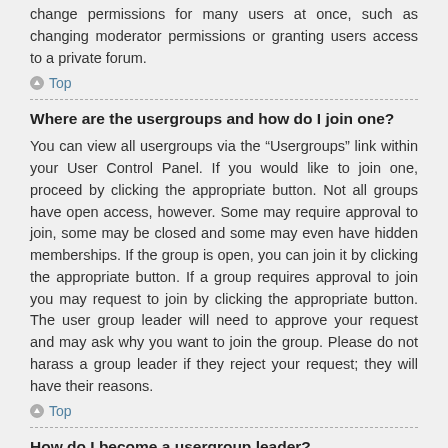change permissions for many users at once, such as changing moderator permissions or granting users access to a private forum.
Top
Where are the usergroups and how do I join one?
You can view all usergroups via the “Usergroups” link within your User Control Panel. If you would like to join one, proceed by clicking the appropriate button. Not all groups have open access, however. Some may require approval to join, some may be closed and some may even have hidden memberships. If the group is open, you can join it by clicking the appropriate button. If a group requires approval to join you may request to join by clicking the appropriate button. The user group leader will need to approve your request and may ask why you want to join the group. Please do not harass a group leader if they reject your request; they will have their reasons.
Top
How do I become a usergroup leader?
A usergroup leader is usually assigned when usergroups are initially created by a board administrator. If you are interested in creating a usergroup, your first point of contact should be an administrator; try sending a private message.
Top